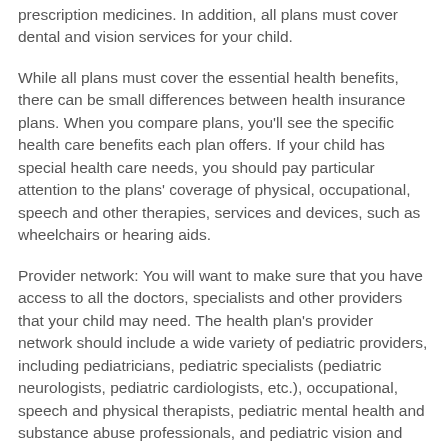prescription medicines. In addition, all plans must cover dental and vision services for your child.
While all plans must cover the essential health benefits, there can be small differences between health insurance plans. When you compare plans, you'll see the specific health care benefits each plan offers. If your child has special health care needs, you should pay particular attention to the plans' coverage of physical, occupational, speech and other therapies, services and devices, such as wheelchairs or hearing aids.
Provider network: You will want to make sure that you have access to all the doctors, specialists and other providers that your child may need. The health plan's provider network should include a wide variety of pediatric providers, including pediatricians, pediatric specialists (pediatric neurologists, pediatric cardiologists, etc.), occupational, speech and physical therapists, pediatric mental health and substance abuse professionals, and pediatric vision and dental care providers. The plan should also include home care services specifically for children. If you want your child